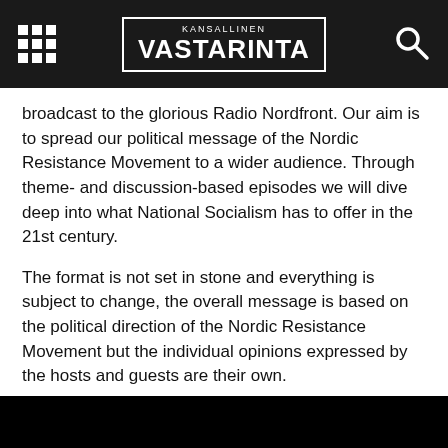KANSALLINEN VASTARINTA
broadcast to the glorious Radio Nordfront. Our aim is to spread our political message of the Nordic Resistance Movement to a wider audience. Through theme- and discussion-based episodes we will dive deep into what National Socialism has to offer in the 21st century.
The format is not set in stone and everything is subject to change, the overall message is based on the political direction of the Nordic Resistance Movement but the individual opinions expressed by the hosts and guests are their own.
Permanent hosts: Andreas Johansson, Johan Svensson and Michael Hovila.
[Figure (other): Black rectangle at the bottom of the page, partial view of a video or image element]